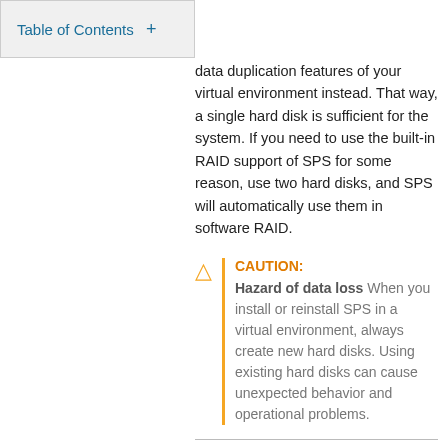Table of Contents +
data duplication features of your virtual environment instead. That way, a single hard disk is sufficient for the system. If you need to use the built-in RAID support of SPS for some reason, use two hard disks, and SPS will automatically use them in software RAID.
CAUTION: Hazard of data loss When you install or reinstall SPS in a virtual environment, always create new hard disks. Using existing hard disks can cause unexpected behavior and operational problems.
Configure a fixed size disk with at least 20 GiB space. About 10 GiB is required for the base system, the remaining disk space is used to store data. To increase the initial